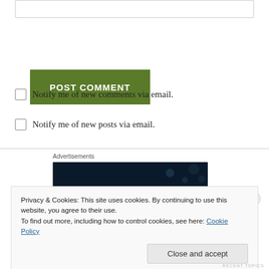[Figure (other): Text input box (partially visible at top)]
POST COMMENT
Notify me of new comments via email.
Notify me of new posts via email.
[Figure (other): Advertisements label with dark blue ad banner image below]
Privacy & Cookies: This site uses cookies. By continuing to use this website, you agree to their use.
To find out more, including how to control cookies, see here: Cookie Policy
Close and accept
RECENT TOPICS